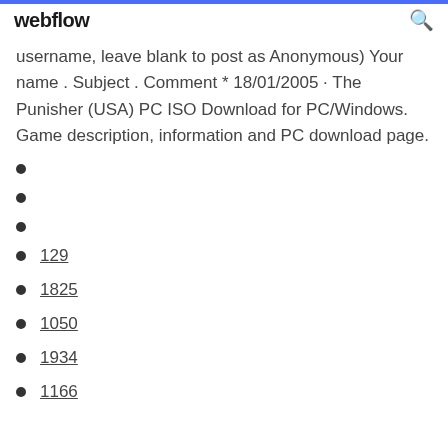webflow
username, leave blank to post as Anonymous) Your name . Subject . Comment * 18/01/2005 · The Punisher (USA) PC ISO Download for PC/Windows. Game description, information and PC download page.
129
1825
1050
1934
1166